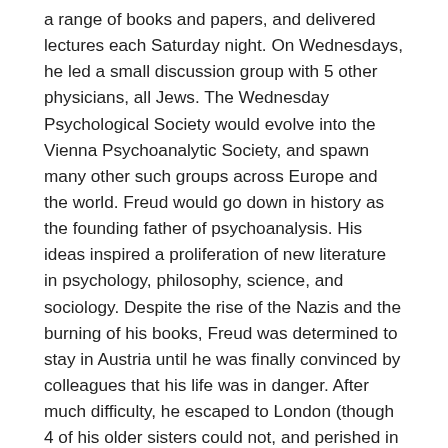a range of books and papers, and delivered lectures each Saturday night. On Wednesdays, he led a small discussion group with 5 other physicians, all Jews. The Wednesday Psychological Society would evolve into the Vienna Psychoanalytic Society, and spawn many other such groups across Europe and the world. Freud would go down in history as the founding father of psychoanalysis. His ideas inspired a proliferation of new literature in psychology, philosophy, science, and sociology. Despite the rise of the Nazis and the burning of his books, Freud was determined to stay in Austria until he was finally convinced by colleagues that his life was in danger. After much difficulty, he escaped to London (though 4 of his older sisters could not, and perished in the Holocaust). He continued his work, analyzing patients and writing more of his ground-breaking ideas. After battling an oral cancer for nearly two decades – a direct result of his smoking addiction – he reached a critical state of illness and a decision was made together with doctors and Freud's daughter to end his life. After several days of high-morphine